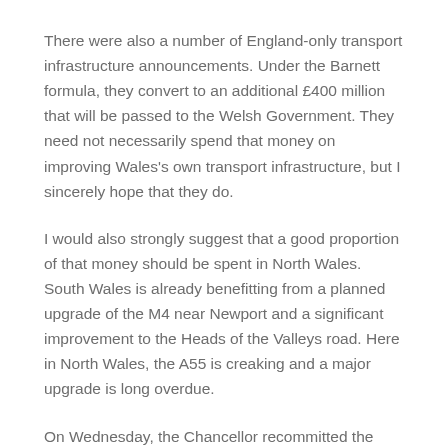There were also a number of England-only transport infrastructure announcements. Under the Barnett formula, they convert to an additional £400 million that will be passed to the Welsh Government. They need not necessarily spend that money on improving Wales's own transport infrastructure, but I sincerely hope that they do.
I would also strongly suggest that a good proportion of that money should be spent in North Wales. South Wales is already benefitting from a planned upgrade of the M4 near Newport and a significant improvement to the Heads of the Valleys road. Here in North Wales, the A55 is creaking and a major upgrade is long overdue.
On Wednesday, the Chancellor recommitted the Government to boosting North Wales's economy through the Growth Deal. To underpin that Deal, and link North Wales to the national motorway network, we need a better A55. It's time for the Welsh Government to play its part.